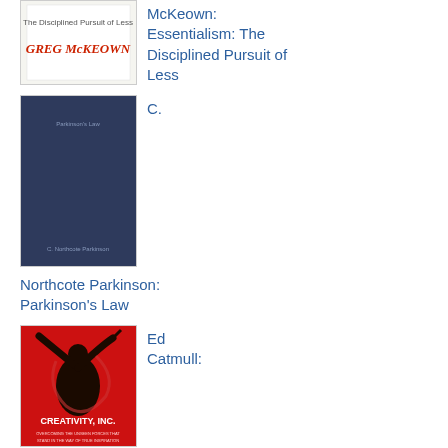[Figure (photo): Book cover of Essentialism: The Disciplined Pursuit of Less by Greg McKeown - white cover with author name in red handwriting style]
McKeown: Essentialism: The Disciplined Pursuit of Less
[Figure (photo): Book cover of Parkinson's Law - dark navy blue cover, minimal design]
C.
Northcote Parkinson: Parkinson's Law
[Figure (photo): Book cover of Creativity, Inc. by Ed Catmull - red cover with silhouette of conductor/person with arms raised]
Ed Catmull: